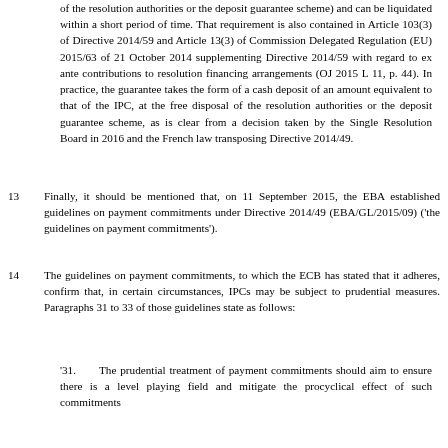of the resolution authorities or the deposit guarantee scheme) and can be liquidated within a short period of time. That requirement is also contained in Article 103(3) of Directive 2014/59 and Article 13(3) of Commission Delegated Regulation (EU) 2015/63 of 21 October 2014 supplementing Directive 2014/59 with regard to ex ante contributions to resolution financing arrangements (OJ 2015 L 11, p. 44). In practice, the guarantee takes the form of a cash deposit of an amount equivalent to that of the IPC, at the free disposal of the resolution authorities or the deposit guarantee scheme, as is clear from a decision taken by the Single Resolution Board in 2016 and the French law transposing Directive 2014/49.
13    Finally, it should be mentioned that, on 11 September 2015, the EBA established guidelines on payment commitments under Directive 2014/49 (EBA/GL/2015/09) (‘the guidelines on payment commitments’).
14    The guidelines on payment commitments, to which the ECB has stated that it adheres, confirm that, in certain circumstances, IPCs may be subject to prudential measures. Paragraphs 31 to 33 of those guidelines state as follows:
‘31.    The prudential treatment of payment commitments should aim to ensure there is a level playing field and mitigate the procyclical effect of such commitments